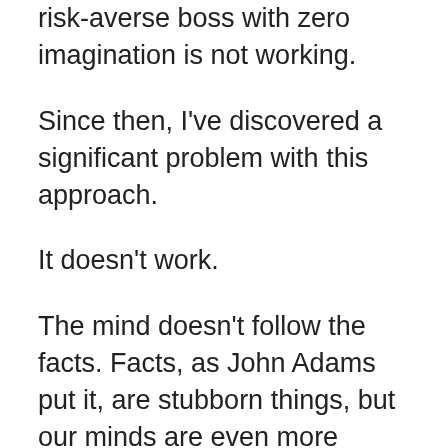risk-averse boss with zero imagination is not working.
Since then, I've discovered a significant problem with this approach.
It doesn't work.
The mind doesn't follow the facts. Facts, as John Adams put it, are stubborn things, but our minds are even more stubborn. Doubt isn't always resolved in the face of facts for even the most enlightened among us, however credible and convincing those facts might be.
As a result of the well-documented